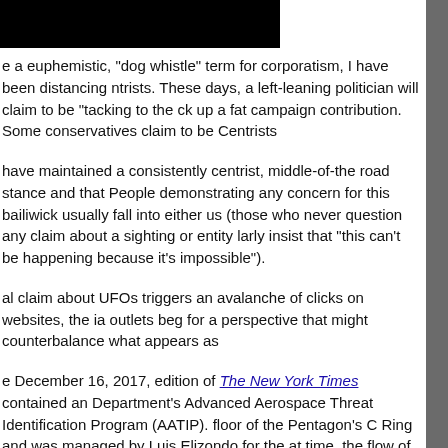[Figure (other): Black rectangle covering top-left area of the page, partially obscuring text above]
e a euphemistic, "dog whistle" term for corporatism, I have been distancing ntrists. These days, a left-leaning politician will claim to be "tacking to the ck up a fat campaign contribution. Some conservatives claim to be Centrists
have maintained a consistently centrist, middle-of-the road stance and that People demonstrating any concern for this bailiwick usually fall into either us (those who never question any claim about a sighting or entity larly insist that "this can't be happening because it's impossible").
al claim about UFOs triggers an avalanche of clicks on websites, the ia outlets beg for a perspective that might counterbalance what appears as
e December 16, 2017, edition of The New York Times contained an Department's Advanced Aerospace Threat Identification Program (AATIP). floor of the Pentagon's C Ring and was managed by Luis Elizondo for the at time, the flow of sober-minded, yet intriguing reportage on the subject nself as the star of a television program called, Unidentified on the History
tly published information on the UFO phenomenon, the occasional oddball spotlight to restore some of the ridicule previously directed at this subject.